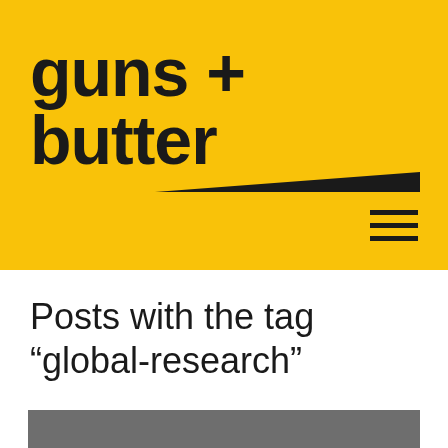[Figure (logo): guns + butter logo on yellow background with black triangle underline and hamburger menu icon]
Posts with the tag “global-research”
[Figure (photo): Gray placeholder image area at bottom of page]